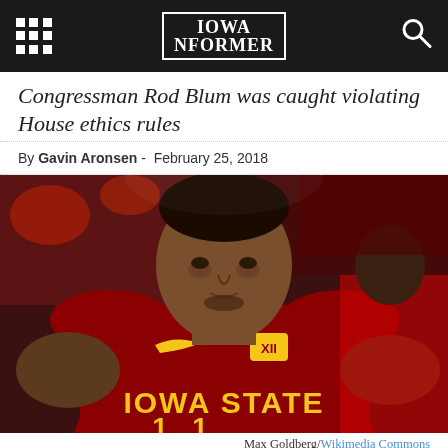Iowa Informer
Congressman Rod Blum was caught violating House ethics rules
By Gavin Aronsen - February 25, 2018
[Figure (photo): Iowa State basketball player wearing a cardinal red Iowa State jersey with Big 12 logo and Nike swoosh, looking upward, with another player partially visible in the background.]
Max Goldberg/Wikimedia Commons